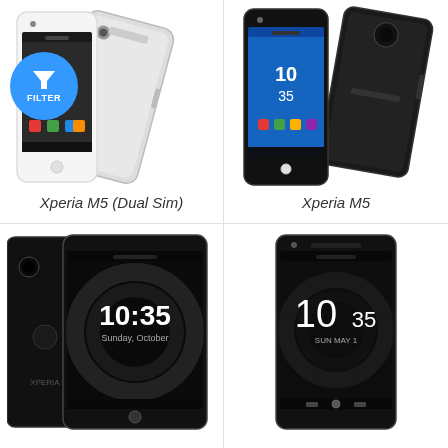[Figure (photo): Sony Xperia M5 Dual Sim smartphones (white, front and back views) with a blue filter badge overlay]
Xperia M5 (Dual Sim)
[Figure (photo): Sony Xperia M5 smartphones (black, front and back views)]
Xperia M5
[Figure (photo): Sony Xperia smartphone (black, front and back views) showing 10:35 on screen]
[Figure (photo): Sony Xperia L1 smartphone (black, front view) showing 10:35 on screen]